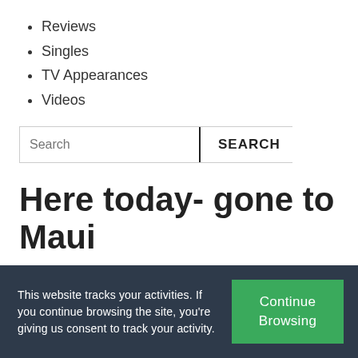Reviews
Singles
TV Appearances
Videos
Here today- gone to Maui
May 31, 2007
First of all- thank you Sacramento (and all of Northern California) for embracing and supporting my music on The Chapman Stick since 1998! It has really been exciting and I
This website tracks your activities. If you continue browsing the site, you're giving us consent to track your activity.